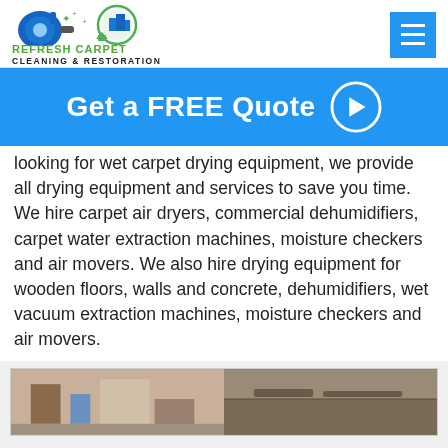[Figure (logo): Refresh Carpet Cleaning & Restoration logo with blower machine graphic and green circular building icon]
[Figure (other): Blue hamburger menu button (three horizontal white lines on blue square)]
Get a FREE Quote →
looking for wet carpet drying equipment, we provide all drying equipment and services to save you time. We hire carpet air dryers, commercial dehumidifiers, carpet water extraction machines, moisture checkers and air movers. We also hire drying equipment for wooden floors, walls and concrete, dehumidifiers, wet vacuum extraction machines, moisture checkers and air movers.
[Figure (photo): Two photos side by side: left shows carpet cleaning equipment in a room, right shows close-up of wet/damaged carpet]